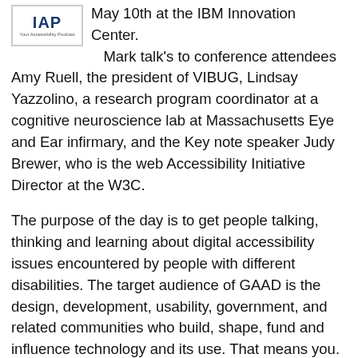[Figure (logo): Logo for 'IAP - Your Accessibility Podcast' showing the letters IAP in bold dark blue with the tagline 'Your Accessibility Podcast' below, inside a rectangular border.]
May 10th at the IBM Innovation Center. Mark talk's to conference attendees Amy Ruell, the president of VIBUG, Lindsay Yazzolino, a research program coordinator at a cognitive neuroscience lab at Massachusetts Eye and Ear infirmary, and the Key note speaker Judy Brewer, who is the web Accessibility Initiative Director at the W3C.
The purpose of the day is to get people talking, thinking and learning about digital accessibility issues encountered by people with different disabilities. The target audience of GAAD is the design, development, usability, government, and related communities who build, shape, fund and influence technology and its use. That means you. Read the blog post by GAAD co-Founder Joe Devon that started it all and watch an interview with GAAD Co-Founder Jennison Asuncion here, on the podcast.